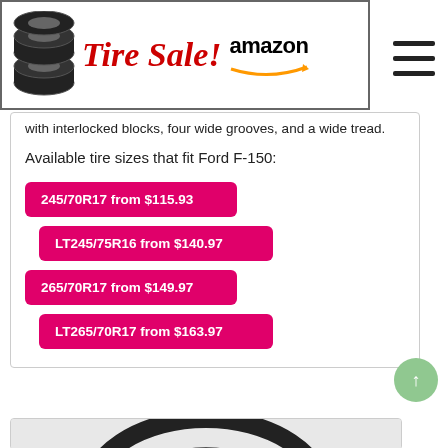Tire Sale! amazon
with interlocked blocks, four wide grooves, and a wide tread.
Available tire sizes that fit Ford F-150:
245/70R17 from $115.93
LT245/75R16 from $140.97
265/70R17 from $149.97
LT265/70R17 from $163.97
[Figure (photo): Photo of a Continental VanContact tire, black rubber tire with tread pattern visible, bottom portion of page]